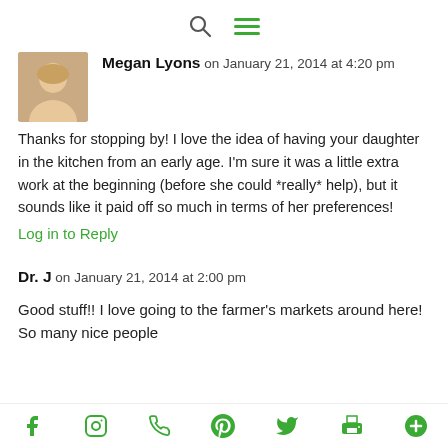[search icon] [menu icon]
Megan Lyons on January 21, 2014 at 4:20 pm
Thanks for stopping by! I love the idea of having your daughter in the kitchen from an early age. I'm sure it was a little extra work at the beginning (before she could *really* help), but it sounds like it paid off so much in terms of her preferences!
Log in to Reply
Dr. J on January 21, 2014 at 2:00 pm
Good stuff!! I love going to the farmer's markets around here! So many nice people
[facebook] [instagram] [phone] [pinterest] [twitter] [print] [plus]